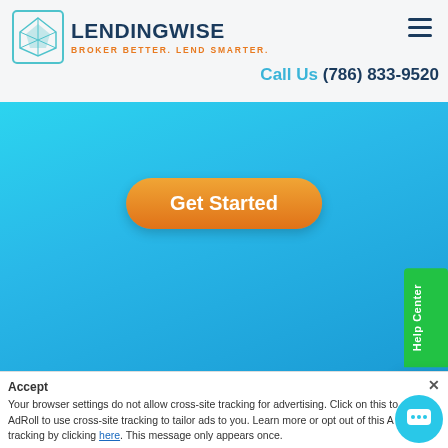LENDINGWISE — BROKER BETTER. LEND SMARTER. | Call Us (786) 833-9520
[Figure (screenshot): LendingWise logo with diamond shape icon, company name and tagline]
Call Us (786) 833-9520
[Figure (screenshot): Blue gradient hero section with orange Get Started button]
Get Started
Help Center
Need a Demo? Want to Chat?
E-mail
Accept
Your browser settings do not allow cross-site tracking for advertising. Click on this to allow AdRoll to use cross-site tracking to tailor ads to you. Learn more or opt out of this AdRoll tracking by clicking here. This message only appears once.